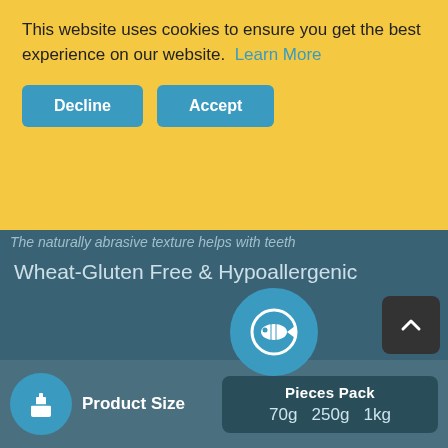This website uses cookies to ensure you get the best experience on our website. Learn More
Decline | Accept
The naturally abrasive texture helps with teeth
[Figure (photo): Dog photo in popup modal]
New Here?
Join 10,000+ dog owners just like you by subscribing to our newsletter, and get 25% OFF your next order!
TAKE ME THERE!
Wheat-Gluten Free & Hypoallergenic
Product Size
Pieces Pack
70g  250g  1kg